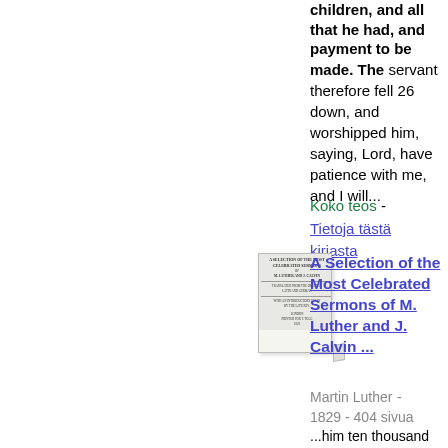children, and all that he had, and payment to be made. The servant therefore fell 26 down, and worshipped him, saying, Lord, have patience with me, and I will...
Koko teos - Tietoja tästä kirjasta
[Figure (photo): Thumbnail image of a book cover - A Selection of the Most Celebrated Sermons of M. Luther and J. Calvin]
A Selection of the Most Celebrated Sermons of M. Luther and J. Calvin ...
Martin Luther - 1829 - 404 sivua ...him ten thousand talents. 25 But forasmuch as he had not to